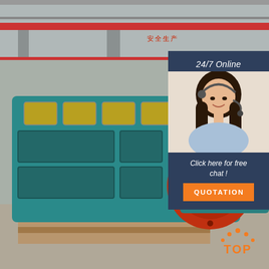[Figure (photo): Factory photo showing large industrial electric motors/generators painted teal/turquoise with yellow accent windows and red circular coupling flanges, stored in a large manufacturing facility with overhead cranes. Chinese text banners visible in background.]
24/7 Online
[Figure (photo): Customer service agent, young woman with headset, smiling, wearing light blue shirt]
Click here for free chat !
QUOTATION
[Figure (logo): TOP brand logo in orange with arc/mountain design above the word TOP]